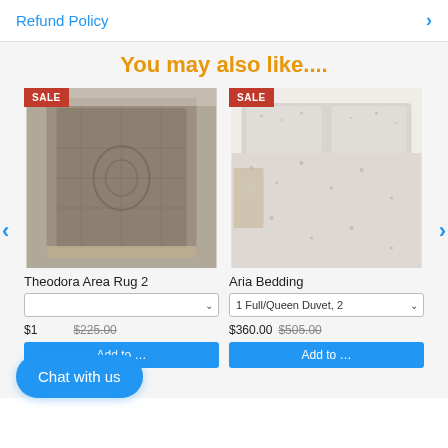Refund Policy
You may also like....
[Figure (photo): Theodora Area Rug 2 - grey vintage patterned area rug with SALE badge]
Theodora Area Rug 2
[Figure (photo): Aria Bedding - white/grey speckled duvet on a bed with SALE badge]
Aria Bedding
1 Full/Queen Duvet, 2
$360.00  $505.00
Chat with us